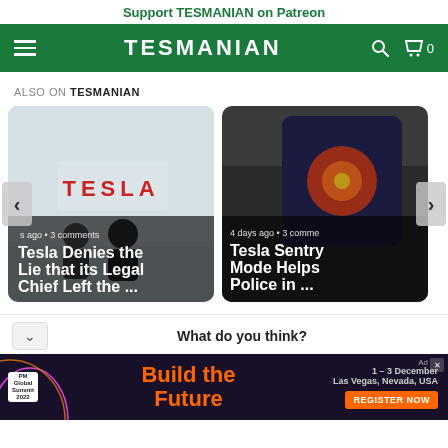Support TESMANIAN on Patreon
TESMANIAN
ALSO ON TESMANIAN
[Figure (photo): Tesla logo on a wall with two people in a meeting room — article card for 'Tesla Denies the Lie that its Legal Chief Left the ...' with metadata '3 comments']
[Figure (photo): Tesla Model 3 infotainment touchscreen showing Sentry Mode thermal camera — article card for 'Tesla Sentry Mode Helps Police in ...' with metadata '4 days ago • 3 comme']
What do you think?
[Figure (infographic): Advertisement banner: PM Global Summit 2022 — Build the Future — 1–3 December, Las Vegas, Nevada, USA — REGISTER NOW]